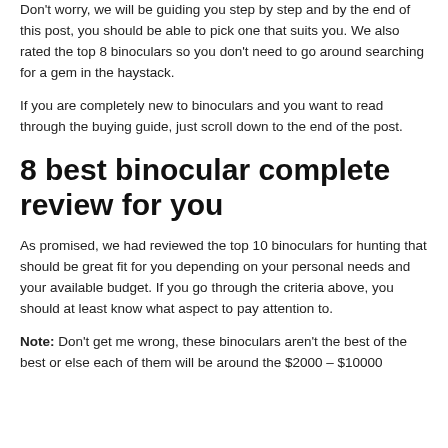Don't worry, we will be guiding you step by step and by the end of this post, you should be able to pick one that suits you. We also rated the top 8 binoculars so you don't need to go around searching for a gem in the haystack.
If you are completely new to binoculars and you want to read through the buying guide, just scroll down to the end of the post.
8 best binocular complete review for you
As promised, we had reviewed the top 10 binoculars for hunting that should be great fit for you depending on your personal needs and your available budget. If you go through the criteria above, you should at least know what aspect to pay attention to.
Note: Don't get me wrong, these binoculars aren't the best of the best or else each of them will be around the $2000 – $10000